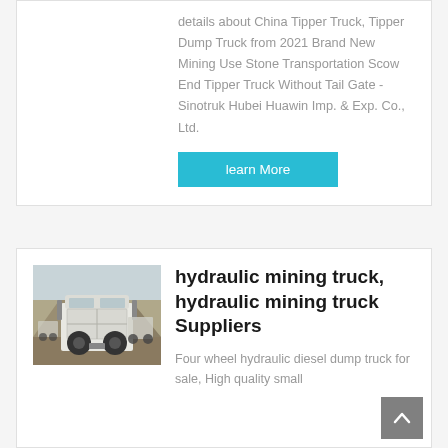details about China Tipper Truck, Tipper Dump Truck from 2021 Brand New Mining Use Stone Transportation Scow End Tipper Truck Without Tail Gate - Sinotruk Hubei Huawin Imp. & Exp. Co., Ltd.
learn More
[Figure (photo): Rear view of a white mining truck/dump truck cab parked in a mountainous area with multiple similar trucks visible in the background]
hydraulic mining truck, hydraulic mining truck Suppliers
Four wheel hydraulic diesel dump truck for sale, High quality small